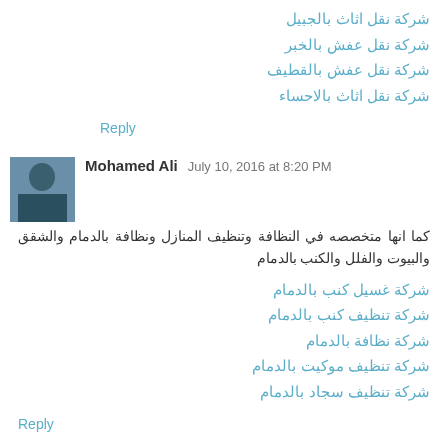شركة نقل اثاث بالجبيل
شركة نقل عفش بالخبر
شركة نقل عفش بالقطيف
شركة نقل اثاث بالاحساء
Reply
Mohamed Ali  July 10, 2016 at 8:20 PM
كما انها متخصصه في النظافة وتنظيف المنازل ونظافة بالدمام والشقق والبيوت والفلل والكنب بالدمام
شركة غسيل كنب بالدمام
شركة تنظيف كنب بالدمام
شركة نظافة بالدمام
شركة تنظيف موكيت بالدمام
شركة تنظيف سجاد بالدمام
Reply
Mohamed Ali  July 10, 2016 at 8:20 PM